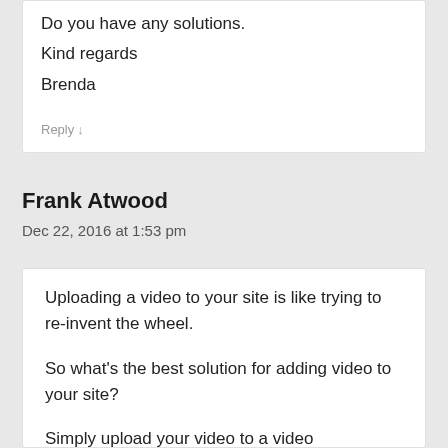Do you have any solutions.
Kind regards
Brenda
Reply ↓
Frank Atwood
Dec 22, 2016 at 1:53 pm
Uploading a video to your site is like trying to re-invent the wheel.
So what's the best solution for adding video to your site?
Simply upload your video to a video